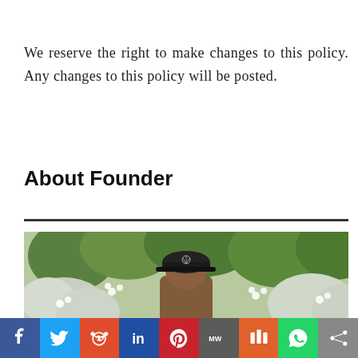We reserve the right to make changes to this policy. Any changes to this policy will be posted.
About Founder
[Figure (photo): Photo of a person wearing a dark cap with a Mercedes-Benz logo, surrounded by flowering white bushes and green trees in an outdoor setting.]
Social share bar: Facebook, Twitter, Reddit, LinkedIn, Pinterest, MixW, Mix, WhatsApp, Share